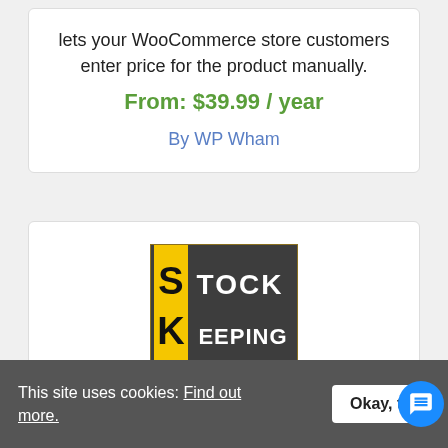lets your WooCommerce store customers enter price for the product manually.
From: $39.99 / year
By WP Wham
[Figure (photo): Stock Keeping Unit (SKU) logo image on asphalt background with yellow stripe]
This site uses cookies: Find out more.
Okay, th